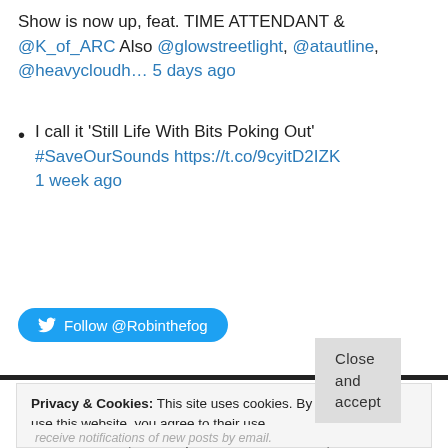Show is now up, feat. TIME ATTENDANT & @K_of_ARC Also @glowstreetlight, @atautline, @heavycloudh... 5 days ago
I call it 'Still Life With Bits Poking Out' #SaveOurSounds https://t.co/9cyitD2IZK 1 week ago
[Figure (other): Twitter Follow button with bird logo: Follow @Robinthefog]
Privacy & Cookies: This site uses cookies. By continuing to use this website, you agree to their use.
To find out more, including how to control cookies, see here: Cookie Policy
Close and accept
receive notifications of new posts by email.